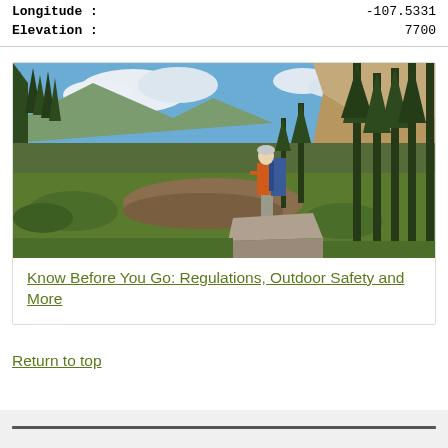| Longitude : | -107.5331 |
| Elevation : | 7700 |
[Figure (photo): A hiker with a blue backpack and orange shirt standing on a rocky outcrop overlooking a mountain meadow valley with pine trees and rocky peaks under a blue sky with white clouds.]
Know Before You Go: Regulations, Outdoor Safety and More
Return to top